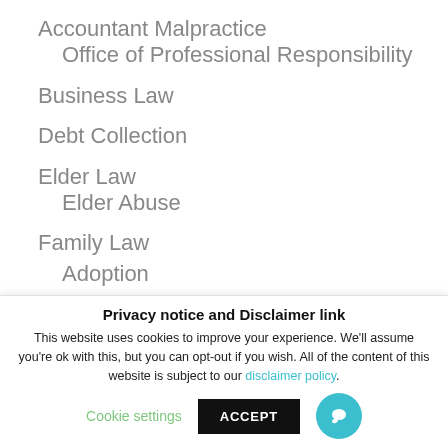Accountant Malpractice
Office of Professional Responsibility
Business Law
Debt Collection
Elder Law
Elder Abuse
Family Law
Adoption
Privacy notice and Disclaimer link
This website uses cookies to improve your experience. We'll assume you're ok with this, but you can opt-out if you wish. All of the content of this website is subject to our disclaimer policy.
Cookie settings
ACCEPT